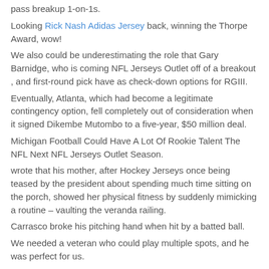pass breakup 1-on-1s.
Looking Rick Nash Adidas Jersey back, winning the Thorpe Award, wow!
We also could be underestimating the role that Gary Barnidge, who is coming NFL Jerseys Outlet off of a breakout , and first-round pick have as check-down options for RGIII.
Eventually, Atlanta, which had become a legitimate contingency option, fell completely out of consideration when it signed Dikembe Mutombo to a five-year, $50 million deal.
Michigan Football Could Have A Lot Of Rookie Talent The NFL Next NFL Jerseys Outlet Season.
wrote that his mother, after Hockey Jerseys once being teased by the president about spending much time sitting on the porch, showed her physical fitness by suddenly mimicking a routine – vaulting the veranda railing.
Carrasco broke his pitching hand when hit by a batted ball.
We needed a veteran who could play multiple spots, and he was perfect for us.
The Hall of Fame selection committee, comprimsed of one media member representing each NFL team, meet on Feb.